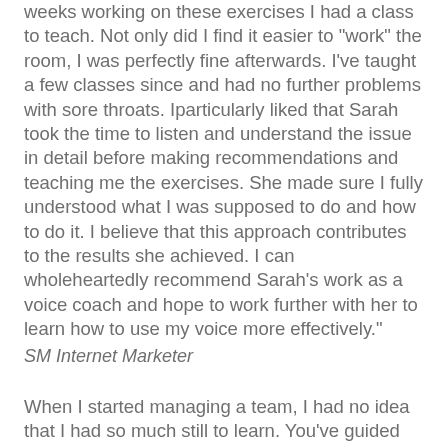weeks working on these exercises I had a class to teach. Not only did I find it easier to "work" the room, I was perfectly fine afterwards. I've taught a few classes since and had no further problems with sore throats. Iparticularly liked that Sarah took the time to listen and understand the issue in detail before making recommendations and teaching me the exercises. She made sure I fully understood what I was supposed to do and how to do it. I believe that this approach contributes to the results she achieved. I can wholeheartedly recommend Sarah's work as a voice coach and hope to work further with her to learn how to use my voice more effectively."
SM Internet Marketer
When I started managing a team, I had no idea that I had so much still to learn. You've guided me through the steps of firm but fair communication techniques...and I really feel that I'm starting to get the best from those around